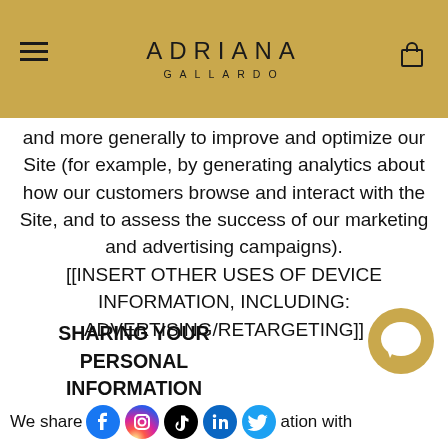ADRIANA GALLARDO
and more generally to improve and optimize our Site (for example, by generating analytics about how our customers browse and interact with the Site, and to assess the success of our marketing and advertising campaigns). [[INSERT OTHER USES OF DEVICE INFORMATION, INCLUDING: ADVERTISING/RETARGETING]]
SHARING YOUR PERSONAL INFORMATION
We share... [social icons] ...ation with